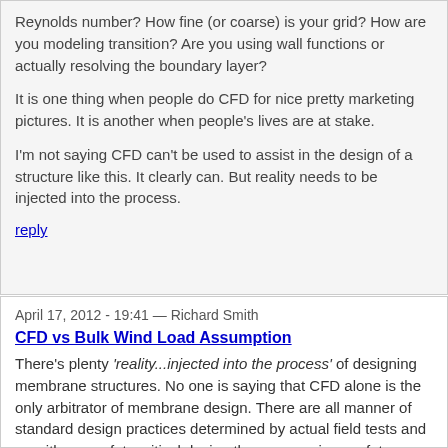Reynolds number? How fine (or coarse) is your grid? How are you modeling transition? Are you using wall functions or actually resolving the boundary layer?
It is one thing when people do CFD for nice pretty marketing pictures. It is another when people's lives are at stake.
I'm not saying CFD can't be used to assist in the design of a structure like this. It clearly can. But reality needs to be injected into the process.
reply
April 17, 2012 - 19:41 — Richard Smith
CFD vs Bulk Wind Load Assumption
There's plenty 'reality...injected into the process' of designing membrane structures. No one is saying that CFD alone is the only arbitrator of membrane design. There are all manner of standard design practices determined by actual field tests and as with any safety critical design there are various safety factors applied to the final design.